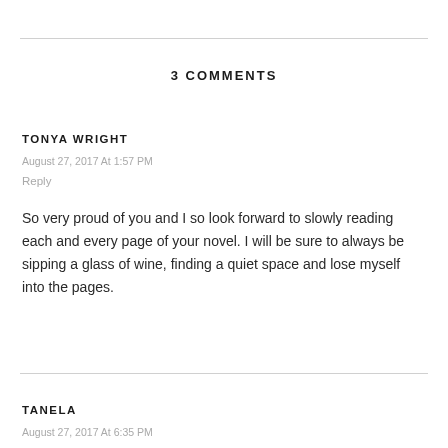3 COMMENTS
TONYA WRIGHT
August 27, 2017 At 1:57 PM
Reply
So very proud of you and I so look forward to slowly reading each and every page of your novel. I will be sure to always be sipping a glass of wine, finding a quiet space and lose myself into the pages.
TANELA
August 27, 2017 At 6:35 PM